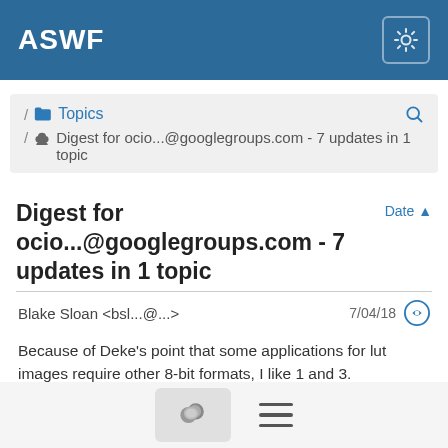ASWF
/ Topics / Digest for ocio...@googlegroups.com - 7 updates in 1 topic
Digest for ocio...@googlegroups.com - 7 updates in 1 topic
Blake Sloan <bsl...@...>   7/04/18
Because of Deke's point that some applications for lut images require other 8-bit formats, I like 1 and 3.
My pitch in favor of #1 is that anyone using ociolutimage already has a build of OIIO somewhere (because of the build/runtime